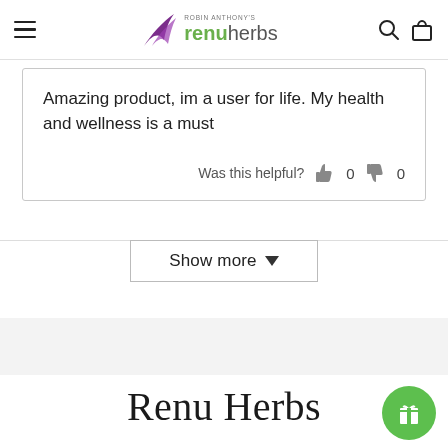Robin Anthony's renuherbs
Amazing product, im a user for life. My health and wellness is a must
Was this helpful? 0 0
Show more
Renu Herbs